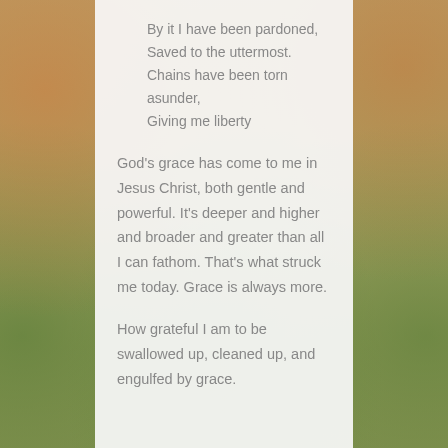By it I have been pardoned,
Saved to the uttermost.
Chains have been torn asunder,
Giving me liberty
God's grace has come to me in Jesus Christ, both gentle and powerful. It's deeper and higher and broader and greater than all I can fathom. That's what struck me today. Grace is always more.
How grateful I am to be swallowed up, cleaned up, and engulfed by grace.